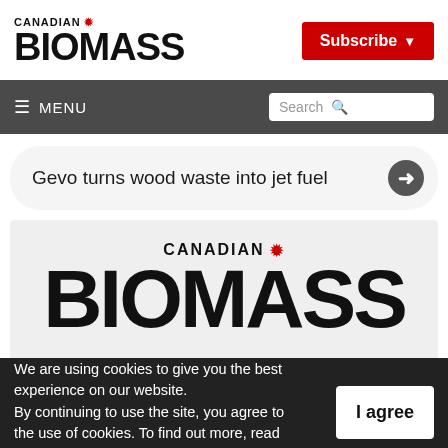CANADIAN BIOMASS
Subscribe
≡ MENU
Search
Gevo turns wood waste into jet fuel
[Figure (logo): Canadian Biomass magazine logo on light grey background]
We are using cookies to give you the best experience on our website. By continuing to use the site, you agree to the use of cookies. To find out more, read our privacy policy.
I agree